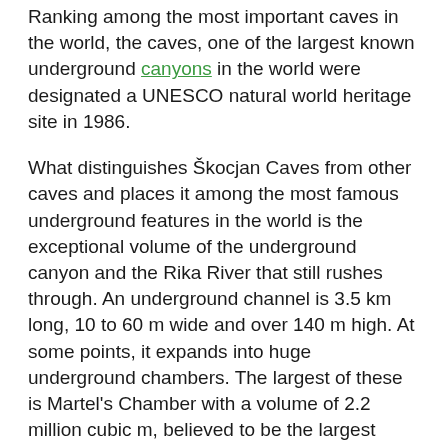Ranking among the most important caves in the world, the caves, one of the largest known underground canyons in the world were designated a UNESCO natural world heritage site in 1986.
What distinguishes Škocjan Caves from other caves and places it among the most famous underground features in the world is the exceptional volume of the underground canyon and the Rika River that still rushes through. An underground channel is 3.5 km long, 10 to 60 m wide and over 140 m high. At some points, it expands into huge underground chambers. The largest of these is Martel's Chamber with a volume of 2.2 million cubic m, believed to be the largest discovered underground chamber in Europe and one of the largest in the world.
The existence of the cave has been known since ancient times (and the area is rich with archeological sites), but concerted exploration of Škocjan Caves began in 1884. Explorers reached